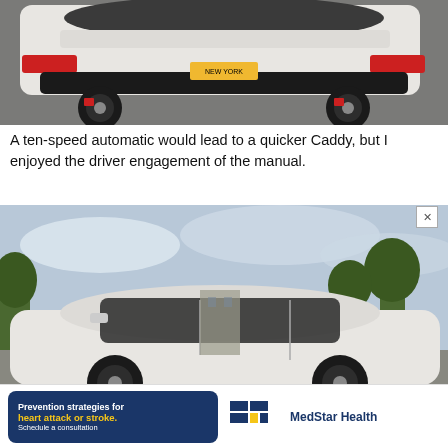[Figure (photo): Rear three-quarter view of a white Cadillac CT5-V on a parking lot surface, showing rear diffuser, red brake calipers, and dark alloy wheels with a New York license plate.]
A ten-speed automatic would lead to a quicker Caddy, but I enjoyed the driver engagement of the manual.
[Figure (photo): Side profile view of a white Cadillac CT5-V sedan in a parking lot with trees and cloudy sky in the background. Image counter shows 4/13.]
[Figure (infographic): Advertisement banner: Prevention strategies for heart attack or stroke. Schedule a consultation. MedStar Health logo.]